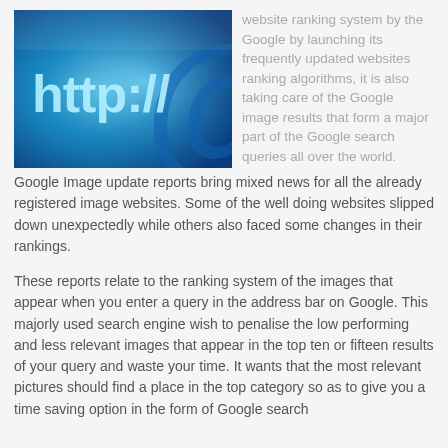[Figure (photo): Close-up photo of a blue screen showing 'http://' text and an '@' symbol, representing internet/web browsing.]
website ranking system by the Google by launching its frequently updated websites ranking algorithms, it is also taking care of the Google image results that form a major part of the Google search queries all over the world. Google Image update reports bring mixed news for all the already registered image websites. Some of the well doing websites slipped down unexpectedly while others also faced some changes in their rankings.
These reports relate to the ranking system of the images that appear when you enter a query in the address bar on Google. This majorly used search engine wish to penalise the low performing and less relevant images that appear in the top ten or fifteen results of your query and waste your time. It wants that the most relevant pictures should find a place in the top category so as to give you a time saving option in the form of Google search